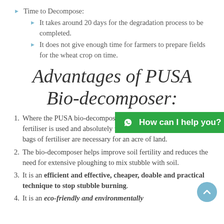Time to Decompose:
It takes around 20 days for the degradation process to be completed.
It does not give enough time for farmers to prepare fields for the wheat crop on time.
Advantages of PUSA Bio-decomposer:
1. Where the PUSA bio-decomposer is sprayed, very little urea or fertiliser is used and absolutely no potash. Usually around four bags of fertiliser are necessary for an acre of land.
2. The bio-decomposer helps improve soil fertility and reduces the need for extensive ploughing to mix stubble with soil.
3. It is an efficient and effective, cheaper, doable and practical technique to stop stubble burning.
4. It is an eco-friendly and environmentally...